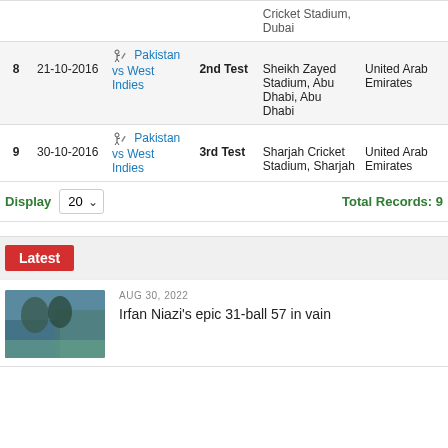| # | Date | Match | Type | Venue | Country |
| --- | --- | --- | --- | --- | --- |
|  |  |  |  | Cricket Stadium, Dubai |  |
| 8 | 21-10-2016 | Pakistan vs West Indies | 2nd Test | Sheikh Zayed Stadium, Abu Dhabi, Abu Dhabi | United Arab Emirates |
| 9 | 30-10-2016 | Pakistan vs West Indies | 3rd Test | Sharjah Cricket Stadium, Sharjah | United Arab Emirates |
Display 20   Total Records: 9
Latest
AUG 30, 2022
Irfan Niazi's epic 31-ball 57 in vain